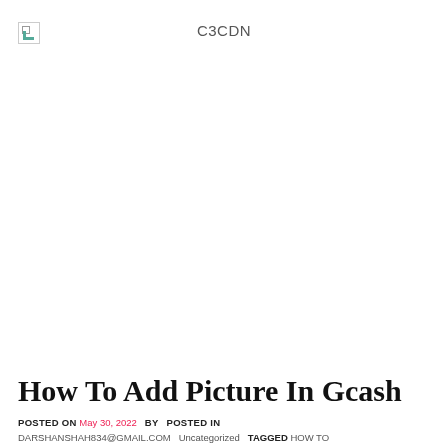C3CDN
[Figure (other): Black navigation bar with hamburger menu icon on left and search icon on right]
How To Add Picture In Gcash
POSTED ON MAY 30, 2022  BY  POSTED IN DARSHANSHAH834@GMAIL.COM  UNCATEGORIZED  TAGGED HOW TO ADD PICTURE IN GCASH